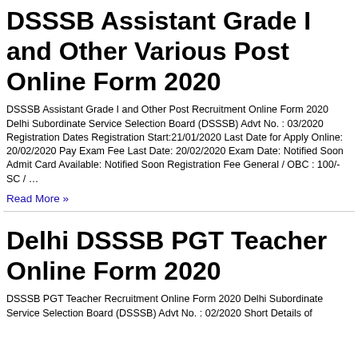DSSSB Assistant Grade I and Other Various Post Online Form 2020
DSSSB Assistant Grade I and Other Post Recruitment Online Form 2020 Delhi Subordinate Service Selection Board (DSSSB) Advt No. : 03/2020 Registration Dates Registration Start:21/01/2020 Last Date for Apply Online: 20/02/2020 Pay Exam Fee Last Date: 20/02/2020 Exam Date: Notified Soon Admit Card Available: Notified Soon Registration Fee General / OBC : 100/- SC / …
Read More »
Delhi DSSSB PGT Teacher Online Form 2020
DSSSB PGT Teacher Recruitment Online Form 2020 Delhi Subordinate Service Selection Board (DSSSB) Advt No. : 02/2020 Short Details of